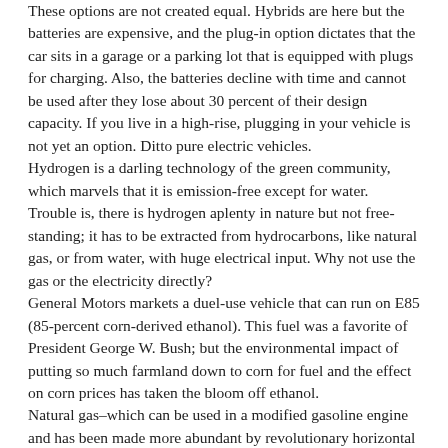These options are not created equal. Hybrids are here but the batteries are expensive, and the plug-in option dictates that the car sits in a garage or a parking lot that is equipped with plugs for charging. Also, the batteries decline with time and cannot be used after they lose about 30 percent of their design capacity. If you live in a high-rise, plugging in your vehicle is not yet an option. Ditto pure electric vehicles. Hydrogen is a darling technology of the green community, which marvels that it is emission-free except for water. Trouble is, there is hydrogen aplenty in nature but not free-standing; it has to be extracted from hydrocarbons, like natural gas, or from water, with huge electrical input. Why not use the gas or the electricity directly? General Motors markets a duel-use vehicle that can run on E85 (85-percent corn-derived ethanol). This fuel was a favorite of President George W. Bush; but the environmental impact of putting so much farmland down to corn for fuel and the effect on corn prices has taken the bloom off ethanol. Natural gas–which can be used in a modified gasoline engine and has been made more abundant by revolutionary horizontal drilling technology–is advocated by T. Boone Pickens and others. It has come late to the transportation fuel area because of